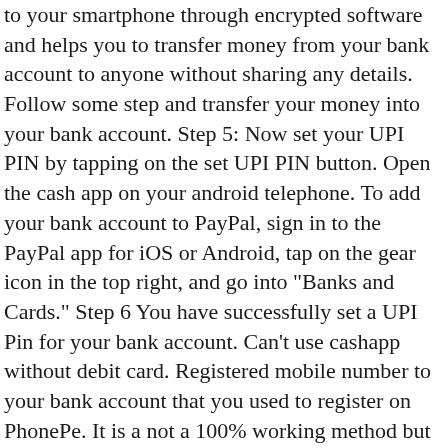to your smartphone through encrypted software and helps you to transfer money from your bank account to anyone without sharing any details. Follow some step and transfer your money into your bank account. Step 5: Now set your UPI PIN by tapping on the set UPI PIN button. Open the cash app on your android telephone. To add your bank account to PayPal, sign in to the PayPal app for iOS or Android, tap on the gear icon in the top right, and go into "Banks and Cards." Step 6 You have successfully set a UPI Pin for your bank account. Can't use cashapp without debit card. Registered mobile number to your bank account that you used to register on PhonePe. It is a not a 100% working method but most of the people can use it and achieve their goals. First: share to improve GetHuman-amruthba's odds . Read: How to set up email signature in Outlook 2019, Also read: How to return a product on Amazon: Step by step guide, Treated like drug addict: Black doctor alleges racism at hospital; dies of Covid, What agitating farmers want, and why the Centre may not oblige. The Rajinikanth